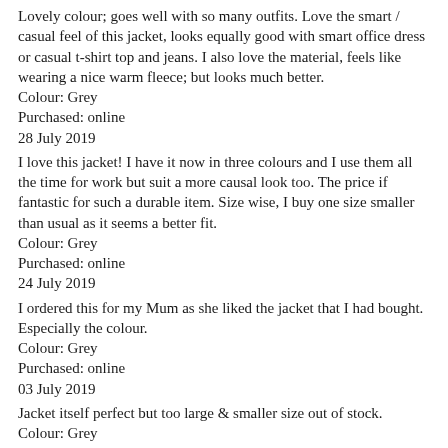Lovely colour; goes well with so many outfits. Love the smart / casual feel of this jacket, looks equally good with smart office dress or casual t-shirt top and jeans. I also love the material, feels like wearing a nice warm fleece; but looks much better.
Colour: Grey
Purchased: online
28 July 2019
I love this jacket! I have it now in three colours and I use them all the time for work but suit a more causal look too. The price if fantastic for such a durable item. Size wise, I buy one size smaller than usual as it seems a better fit.
Colour: Grey
Purchased: online
24 July 2019
I ordered this for my Mum as she liked the jacket that I had bought. Especially the colour.
Colour: Grey
Purchased: online
03 July 2019
Jacket itself perfect but too large & smaller size out of stock.
Colour: Grey
Purchased: online
09 June 2019
item was stylish and well made Colour true to photo but I always like to try on in store and if a cant get my size I will purchase on